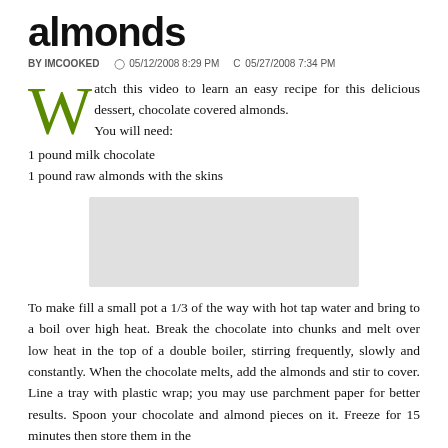almonds
BY IMCOOKED   © 05/12/2008 8:29 PM   C 05/27/2008 7:34 PM
Watch this video to learn an easy recipe for this delicious dessert, chocolate covered almonds.
You will need:
1 pound milk chocolate
1 pound raw almonds with the skins
[Figure (other): Video placeholder rectangle (gray box)]
To make fill a small pot a 1/3 of the way with hot tap water and bring to a boil over high heat. Break the chocolate into chunks and melt over low heat in the top of a double boiler, stirring frequently, slowly and constantly. When the chocolate melts, add the almonds and stir to cover. Line a tray with plastic wrap; you may use parchment paper for better results. Spoon your chocolate and almond pieces on it. Freeze for 15 minutes then store them in the